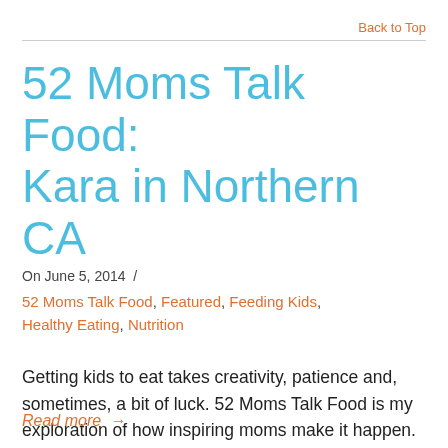Back to Top
52 Moms Talk Food: Kara in Northern CA
On June 5, 2014  /
52 Moms Talk Food, Featured, Feeding Kids, Healthy Eating, Nutrition
Getting kids to eat takes creativity, patience and, sometimes, a bit of luck. 52 Moms Talk Food is my exploration of how inspiring moms make it happen. Parents of two young boys, Kara and her husband live in Rocklin, near Sacramento. When she’s not busy chasing her sons
Read more →